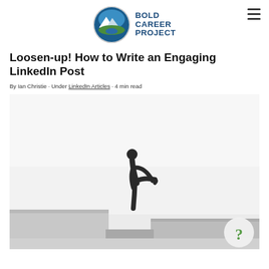[Figure (logo): Bold Career Project logo: circular mountain/lake icon with blue text 'BOLD CAREER PROJECT' to the right]
Loosen-up! How to Write an Engaging LinkedIn Post
By Ian Christie · Under LinkedIn Articles · 4 min read
[Figure (photo): Black and white photo of a person stretching/loosen up on what appears to be a wall or ledge edge, set against a light grey sky background]